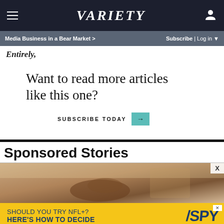VARIETY | Media Business in a Bear Market > | Subscribe | Log in
Entirely,
Want to read more articles like this one?
SUBSCRIBE TODAY →
Sponsored Stories
[Figure (photo): Close-up photo of hands, warm tones, blurred background]
[Figure (infographic): Yellow ad banner: SHOULD YOU TRY NFL+? HERE'S HOW TO DECIDE — SPY logo]